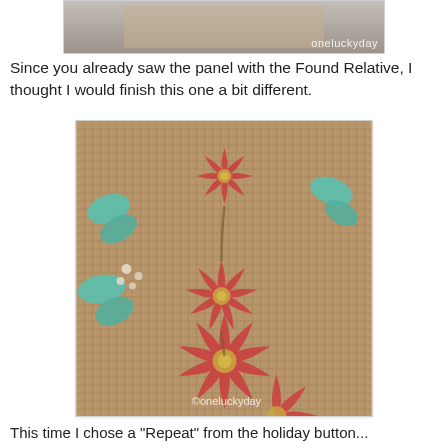[Figure (photo): Partial top image with watermark 'oneluckyday' on dark/grey background, cropped]
Since you already saw the panel with the Found Relative, I thought I would finish this one a bit different.
[Figure (photo): Close-up photo of burlap fabric decorated with red poinsettia flowers and teal/turquoise holly leaves, with 'oneluckyday' watermark]
This time I chose a "Repeat" from the holiday button...